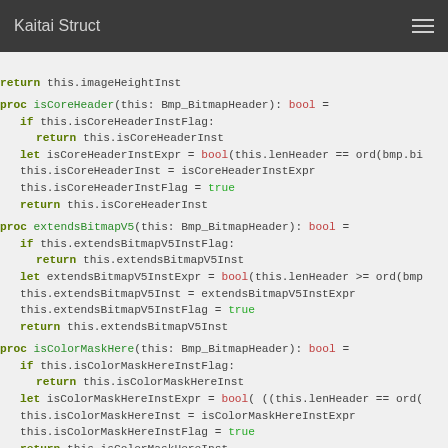Kaitai Struct
[Figure (screenshot): Code listing showing Nim/Kaitai Struct generated code with three proc definitions: isCoreHeader, extendsBitmapV5, and isColorMaskHere, each with flag-guarded lazy evaluation patterns.]